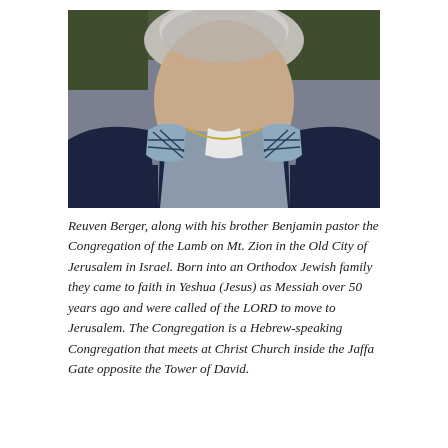[Figure (photo): Close-up photo of an elderly bearded man with grey/white beard, wearing a dark navy sweater over a grey collared shirt with a blue and white gingham/checkered pattern underneath. The photo shows only the neck and chin area.]
Reuven Berger, along with his brother Benjamin pastor the Congregation of the Lamb on Mt. Zion in the Old City of Jerusalem in Israel. Born into an Orthodox Jewish family they came to faith in Yeshua (Jesus) as Messiah over 50 years ago and were called of the LORD to move to Jerusalem. The Congregation is a Hebrew-speaking Congregation that meets at Christ Church inside the Jaffa Gate opposite the Tower of David.